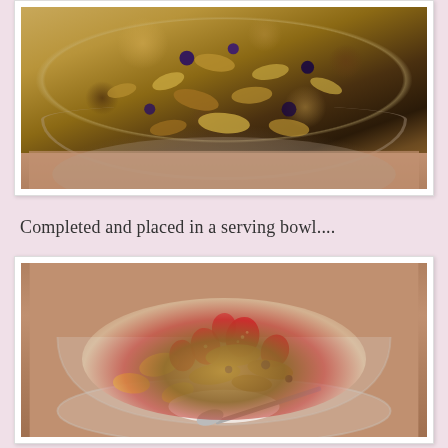[Figure (photo): A glass bowl filled with granola, oats, and dried fruits (blueberries/raisins) on a granite countertop, viewed from above showing granola topping.]
Completed and placed in a serving bowl....
[Figure (photo): A glass serving bowl with granola, fresh strawberries, banana slices, and yogurt on a granite countertop, with a spoon visible.]